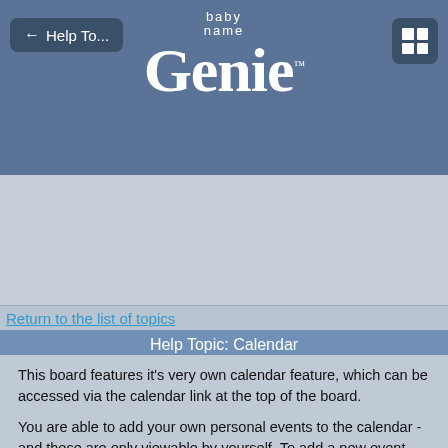← Help To... | baby name Genie™
Return to the list of topics
Help Topic: Calendar
This board features it's very own calendar feature, which can be accessed via the calendar link at the top of the board.
You are able to add your own personal events to the calendar - and these are only viewable by yourself. To add a new event, use the 'Add New Event' button to be taken to the event posting screen. There are three types of events that you can now add:
A single day/one off event can be added using the first option, by just selecting the date for it to appear on.
Ranged Event - is an event that spans across multiple days, to do this in addition to selecting the start date as above, will need to add the end date for the event. There are also options available to highlight the message on the calendar, useful if there is more than one ranged event being displayed at any one time.